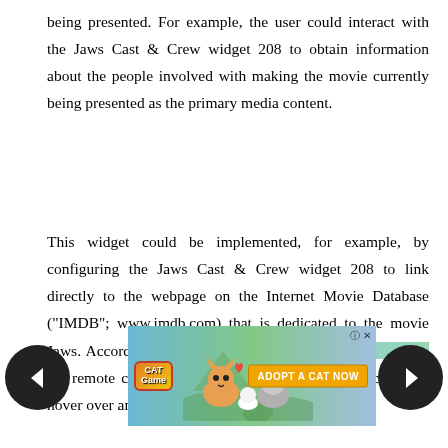being presented. For example, the user could interact with the Jaws Cast & Crew widget 208 to obtain information about the people involved with making the movie currently being presented as the primary media content.
This widget could be implemented, for example, by configuring the Jaws Cast & Crew widget 208 to link directly to the webpage on the Internet Movie Database ("IMDB"; www.imdb.com) that is dedicated to the movie Jaws. Accordingly, when the user ma[kes a selection using a ]RF remote control device (not shown) to move a cursor to hover over and select the Jaws Cast & Crew widget,
[Figure (screenshot): Advertisement overlay showing 'Cat Game' with cartoon cats and 'ADOPT A CAT NOW' button, partially overlapping the text. Navigation arrows (left and right) are also visible.]